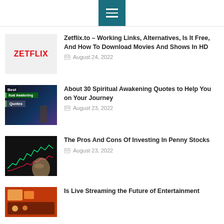Navigation menu
Zetflix.to – Working Links, Alternatives, Is It Free, And How To Download Movies And Shows In HD
August 24, 2022
About 30 Spiritual Awakening Quotes to Help You on Your Journey
August 23, 2022
The Pros And Cons Of Investing In Penny Stocks
August 23, 2022
Is Live Streaming the Future of Entertainment